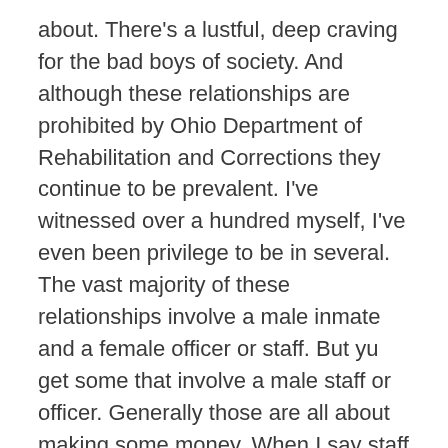about. There's a lustful, deep craving for the bad boys of society. And although these relationships are prohibited by Ohio Department of Rehabilitation and Corrections they continue to be prevalent. I've witnessed over a hundred myself, I've even been privilege to be in several. The vast majority of these relationships involve a male inmate and a female officer or staff. But yu get some that involve a male staff or officer. Generally those are all about making some money. When I say staff I'm talking about the secretaries, case managers, unit managers and/or outside volunteers. They're suppose to be esteemed given the fact that they have a little more education than most officers. So that's what sets them apart. One of the things that I've always seen hold true is the attraction between man and woman. Nothing can stop that! Not even the rules. I know because as a juvenile I've witnessed the same demonstration with